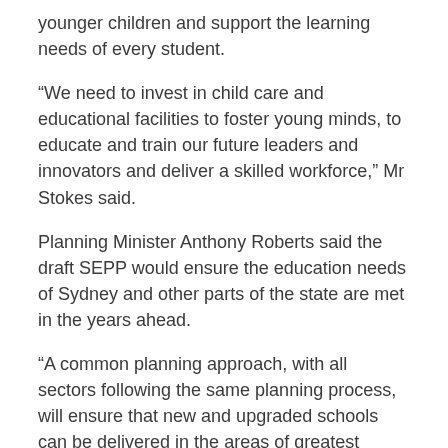younger children and support the learning needs of every student.
“We need to invest in child care and educational facilities to foster young minds, to educate and train our future leaders and innovators and deliver a skilled workforce,” Mr Stokes said.
Planning Minister Anthony Roberts said the draft SEPP would ensure the education needs of Sydney and other parts of the state are met in the years ahead.
“A common planning approach, with all sectors following the same planning process, will ensure that new and upgraded schools can be delivered in the areas of greatest need,” Mr Roberts said.
He said the draft SEPP would assist in the development of necessary education and child care facilities to meet requirements of the extra 1.7 million residents